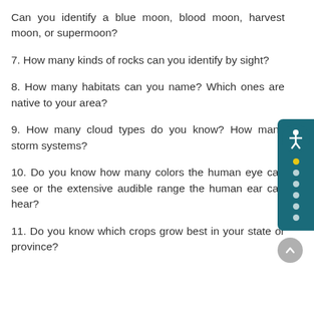Can you identify a blue moon, blood moon, harvest moon, or supermoon?
7. How many kinds of rocks can you identify by sight?
8. How many habitats can you name? Which ones are native to your area?
9. How many cloud types do you know? How many storm systems?
10. Do you know how many colors the human eye can see or the extensive audible range the human ear can hear?
11. Do you know which crops grow best in your state or province?